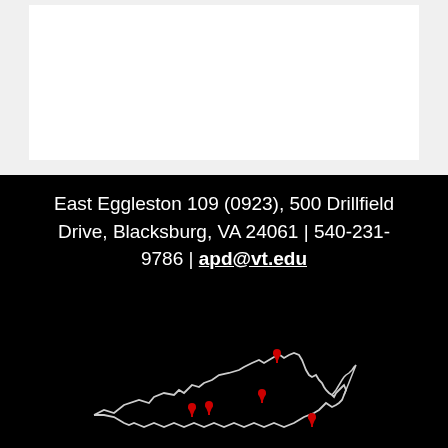[Figure (other): White rectangle on light gray background (top portion of page)]
East Eggleston 109 (0923), 500 Drillfield Drive, Blacksburg, VA 24061 | 540-231-9786 | apd@vt.edu
[Figure (map): Outline map of the state of Virginia on black background with red location pin markers indicating campus or office locations]